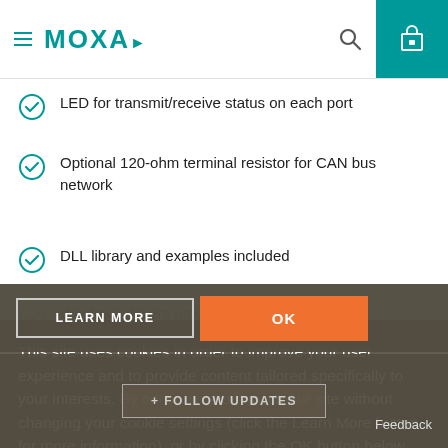MOXA
LED for transmit/receive status on each port
Optional 120-ohm terminal resistor for CAN bus network
DLL library and examples included
Windows drivers provided
Certifications
This site uses cookies in order to improve your user experience and to provide content tailored specifically to your interests. By continuing to browse our site without changing your cookie settings (click the Learn More button for more information), or by clicking the OK button below, you hereby acknowledge and agree to our Privacy Policy and use of cookies.
LEARN MORE
OK
+ FOLLOW UPDATES
Feedback